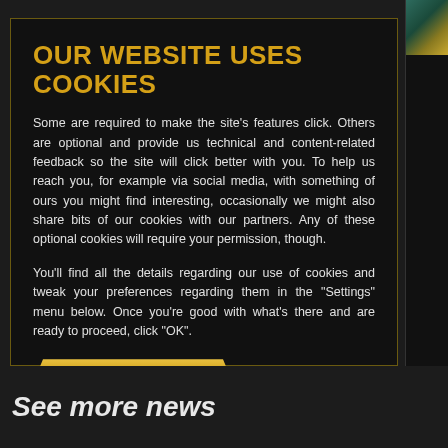OUR WEBSITE USES COOKIES
Some are required to make the site's features click. Others are optional and provide us technical and content-related feedback so the site will click better with you. To help us reach you, for example via social media, with something of ours you might find interesting, occasionally we might also share bits of our cookies with our partners. Any of these optional cookies will require your permission, though.
You'll find all the details regarding our use of cookies and tweak your preferences regarding them in the "Settings" menu below. Once you're good with what's there and are ready to proceed, click "OK".
OK
Settings ▾
See more news